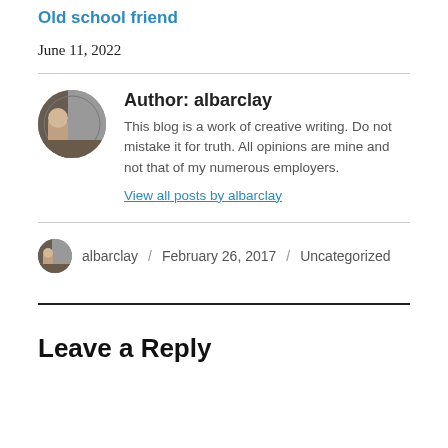Old school friend
June 11, 2022
Author: albarclay
This blog is a work of creative writing. Do not mistake it for truth. All opinions are mine and not that of my numerous employers.
View all posts by albarclay
albarclay / February 26, 2017 / Uncategorized
Leave a Reply